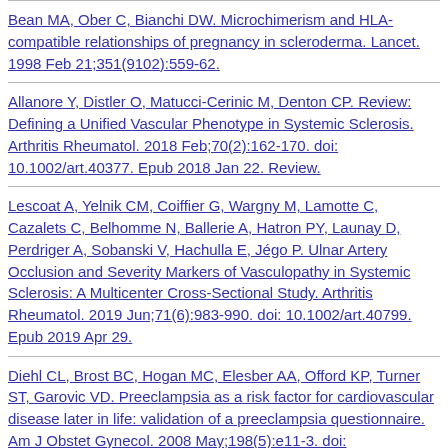Bean MA, Ober C, Bianchi DW. Microchimerism and HLA-compatible relationships of pregnancy in scleroderma. Lancet. 1998 Feb 21;351(9102):559-62.
Allanore Y, Distler O, Matucci-Cerinic M, Denton CP. Review: Defining a Unified Vascular Phenotype in Systemic Sclerosis. Arthritis Rheumatol. 2018 Feb;70(2):162-170. doi: 10.1002/art.40377. Epub 2018 Jan 22. Review.
Lescoat A, Yelnik CM, Coiffier G, Wargny M, Lamotte C, Cazalets C, Belhomme N, Ballerie A, Hatron PY, Launay D, Perdriger A, Sobanski V, Hachulla E, Jégo P. Ulnar Artery Occlusion and Severity Markers of Vasculopathy in Systemic Sclerosis: A Multicenter Cross-Sectional Study. Arthritis Rheumatol. 2019 Jun;71(6):983-990. doi: 10.1002/art.40799. Epub 2019 Apr 29.
Diehl CL, Brost BC, Hogan MC, Elesber AA, Offord KP, Turner ST, Garovic VD. Preeclampsia as a risk factor for cardiovascular disease later in life: validation of a preeclampsia questionnaire. Am J Obstet Gynecol. 2008 May;198(5):e11-3. doi: